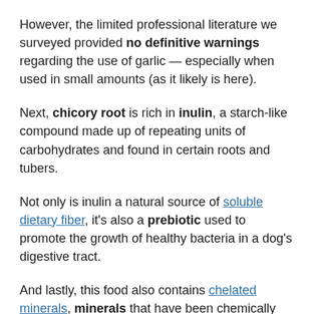However, the limited professional literature we surveyed provided no definitive warnings regarding the use of garlic — especially when used in small amounts (as it likely is here).
Next, chicory root is rich in inulin, a starch-like compound made up of repeating units of carbohydrates and found in certain roots and tubers.
Not only is inulin a natural source of soluble dietary fiber, it's also a prebiotic used to promote the growth of healthy bacteria in a dog's digestive tract.
And lastly, this food also contains chelated minerals, minerals that have been chemically attached to protein. This makes them easier to absorb. Chelated minerals are usually found in better dog foods.